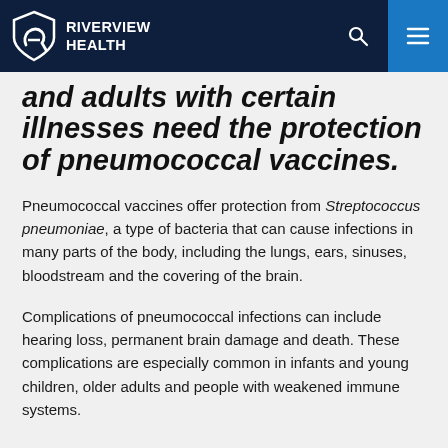RiverView Health
and adults with certain illnesses need the protection of pneumococcal vaccines.
Pneumococcal vaccines offer protection from Streptococcus pneumoniae, a type of bacteria that can cause infections in many parts of the body, including the lungs, ears, sinuses, bloodstream and the covering of the brain.
Complications of pneumococcal infections can include hearing loss, permanent brain damage and death. These complications are especially common in infants and young children, older adults and people with weakened immune systems.